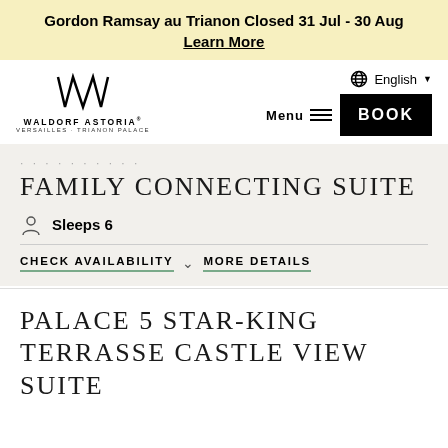Gordon Ramsay au Trianon Closed 31 Jul - 30 Aug
Learn More
[Figure (logo): Waldorf Astoria Versailles Trianon Palace logo with stylized W monogram]
English
Menu  BOOK
FAMILY CONNECTING SUITE
Sleeps 6
CHECK AVAILABILITY   MORE DETAILS
PALACE 5 STAR-KING TERRASSE CASTLE VIEW SUITE